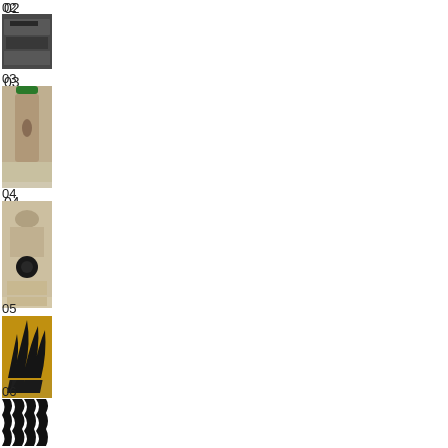02
[Figure (photo): Small thumbnail photo 02 - industrial/mechanical objects, dark tones]
03
[Figure (photo): Small thumbnail photo 03 - bottle or jar with green cap on a ledge]
04
[Figure (photo): Small thumbnail photo 04 - carved stone or ornamental detail with dark sphere]
05
[Figure (photo): Small thumbnail photo 05 - flame pattern on dark/golden background]
06
[Figure (photo): Small thumbnail photo 06 - zebra stripe pattern, black and white]
07
[Figure (photo): Small thumbnail photo 07 - person standing, portrait shot]